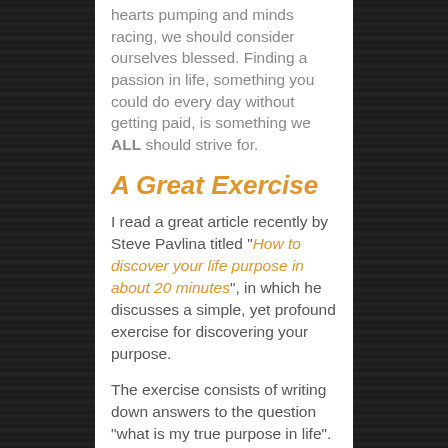hearts pumping and minds racing, we should consider ourselves blessed. Finding a passion in life, something you could do every day without getting paid, is something we ALL should strive for.
A Great Exercise
I read a great article recently by Steve Pavlina titled “How to discover your life purpose in about 20 minutes”, in which he discusses a simple, yet profound exercise for discovering your purpose.
The exercise consists of writing down answers to the question “what is my true purpose in life”. When you come to the answer that makes you cry, you have found it. Now this may seem a bit hokey, but it’s actually very